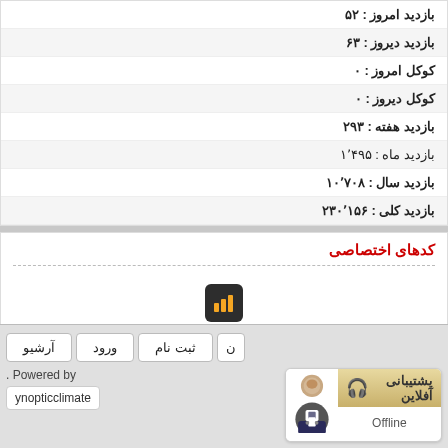بازدید امروز : ۵۲
بازدید دیروز : ۶۳
کوکل امروز : ۰
کوکل دیروز : ۰
بازدید هفته : ۲۹۳
بازدید ماه : ۱٬۴۹۵
بازدید سال : ۱۰٬۷۰۸
بازدید کلی : ۲۳۰٬۱۵۶
کدهای اختصاصی
[Figure (other): Bar chart icon in dark rounded square]
ثبت نام | ورود | آرشیو
. Powered by
synopticclimate
پشتیبانی آفلاین - Offline